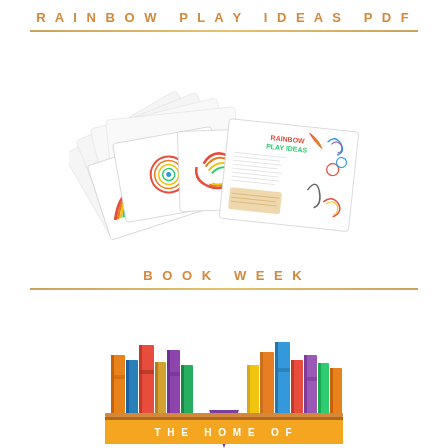RAINBOW PLAY IDEAS PDF
[Figure (photo): Fan of Rainbow Play Ideas cards showing colorful rainbow illustrations and text]
BOOK WEEK
[Figure (illustration): Book week illustration with colorful books and banner text 'THE HOME OF']